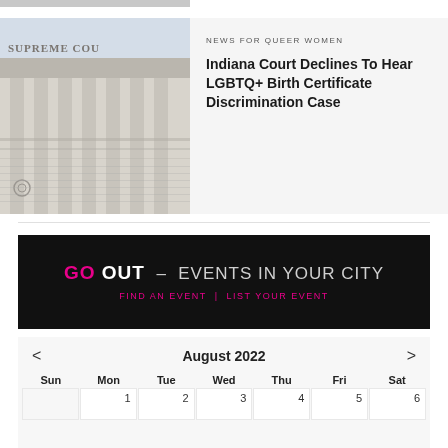[Figure (photo): Partial top image strip visible at top of page]
NEWS FOR QUEER WOMEN
Indiana Court Declines To Hear LGBTQ+ Birth Certificate Discrimination Case
[Figure (photo): Black and white photograph of the Supreme Court building facade showing 'SUPREME COU' text carved in stone]
[Figure (infographic): GO OUT - EVENTS IN YOUR CITY banner with FIND AN EVENT | LIST YOUR EVENT links on black background]
August 2022
| Sun | Mon | Tue | Wed | Thu | Fri | Sat |
| --- | --- | --- | --- | --- | --- | --- |
|  | 1 | 2 | 3 | 4 | 5 | 6 |